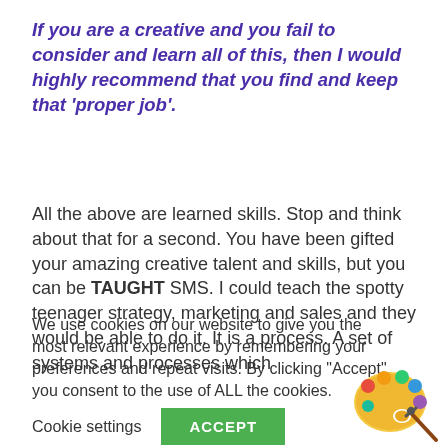If you are a creative and you fail to consider and learn all of this, then I would highly recommend that you find and keep that 'proper job'.
All the above are learned skills. Stop and think about that for a second. You have been gifted your amazing creative talent and skills, but you can be TAUGHT SMS. I could teach the spotty teenager strategy, marketing and sales and they would be able to do it. It is a process. A set of systems and processes which
We use cookies on our website to give you the most relevant experience by remembering your preferences and repeat visits. By clicking "Accept", you consent to the use of ALL the cookies.
Cookie settings   ACCEPT